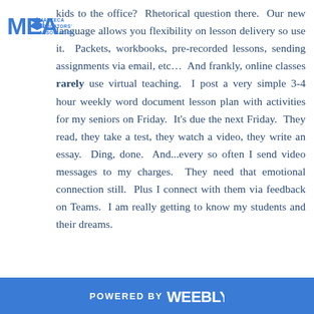[Figure (logo): Manteca Educators' Association logo with 'MEA' initials and a graduation cap icon]
kids to the office?  Rhetorical question there.  Our new language allows you flexibility on lesson delivery so use it.  Packets, workbooks, pre-recorded lessons, sending assignments via email, etc…  And frankly, online classes rarely use virtual teaching.  I post a very simple 3-4 hour weekly word document lesson plan with activities for my seniors on Friday.  It's due the next Friday.  They read, they take a test, they watch a video, they write an essay.  Ding, done.  And...every so often I send video messages to my charges.  They need that emotional connection still.  Plus I connect with them via feedback on Teams.  I am really getting to know my students and their dreams.
POWERED BY weebly